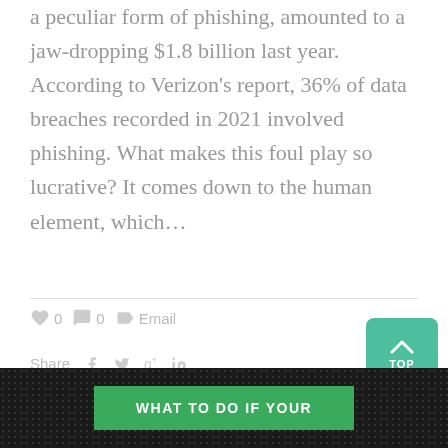a peculiar form of phishing, amounted to a jaw-dropping $1.8 billion last year. According to Verizon's report, 36% of data breaches recorded in 2021 involved phishing. What makes this foul play so lucrative? It comes down to the human element, which…
[Figure (infographic): Social interaction bar with heart icon (0 likes), comment icon (0 comments), and email tag icon. Below: Share label with Facebook, Twitter, Google+, and LinkedIn icons.]
[Figure (infographic): Green TOPbutton with upward chevron arrow in bottom-right corner.]
[Figure (screenshot): Dark banner with dot pattern background and a green rectangle containing white uppercase text: WHAT TO DO IF YOUR]